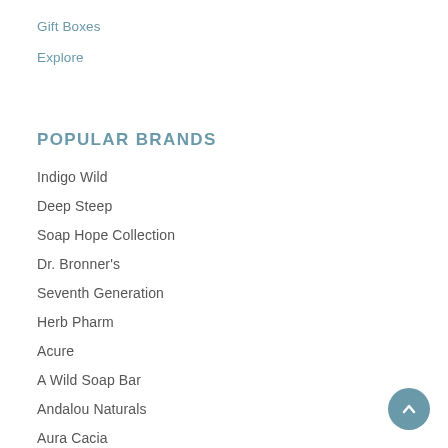Gift Boxes
Explore
POPULAR BRANDS
Indigo Wild
Deep Steep
Soap Hope Collection
Dr. Bronner's
Seventh Generation
Herb Pharm
Acure
A Wild Soap Bar
Andalou Naturals
Aura Cacia
View All